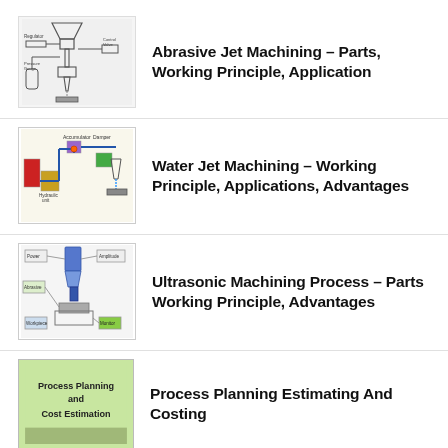Abrasive Jet Machining – Parts, Working Principle, Application
Water Jet Machining – Working Principle, Applications, Advantages
Ultrasonic Machining Process – Parts Working Principle, Advantages
Process Planning Estimating And Costing